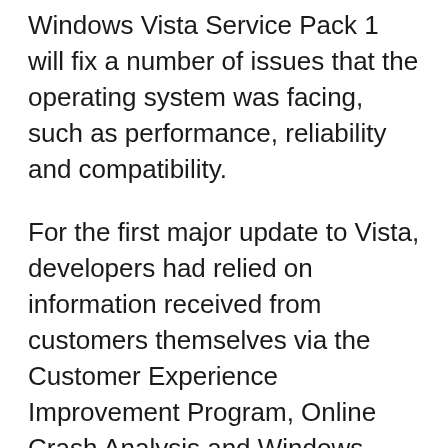Windows Vista Service Pack 1 will fix a number of issues that the operating system was facing, such as performance, reliability and compatibility.
For the first major update to Vista, developers had relied on information received from customers themselves via the Customer Experience Improvement Program, Online Crash Analysis and Windows Error Reporting.
Microsoft's Windows Vista SP1 will be